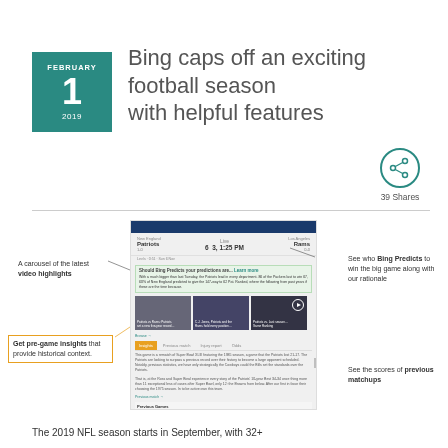FEBRUARY 1 2019
Bing caps off an exciting football season with helpful features
[Figure (infographic): Share icon with 39 Shares count]
[Figure (screenshot): Screenshot of Bing search result page for NFL Super Bowl game between Patriots and Rams, showing score, video highlights carousel, Bing Predicts section, Insights tab with historical context, and previous matchups/scores. Callout labels point to: carousel of latest video highlights, Bing Predicts win prediction with rationale, pre-game insights with historical context, and scores of previous matchups.]
The 2019 NFL season starts in September, with 32+